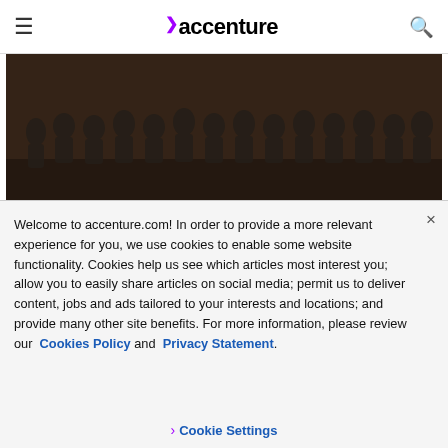accenture (navigation bar with hamburger menu and search icon)
[Figure (photo): A large group photo of The Monkeys and Maud staff joining Accenture Interactive, people seated and standing in a room with a wooden floor]
The Monkeys and Maud staff joining Accenture Interactive
“Customer experience is the new
Welcome to accenture.com! In order to provide a more relevant experience for you, we use cookies to enable some website functionality. Cookies help us see which articles most interest you; allow you to easily share articles on social media; permit us to deliver content, jobs and ads tailored to your interests and locations; and provide many other site benefits. For more information, please review our Cookies Policy and Privacy Statement.
› Cookie Settings